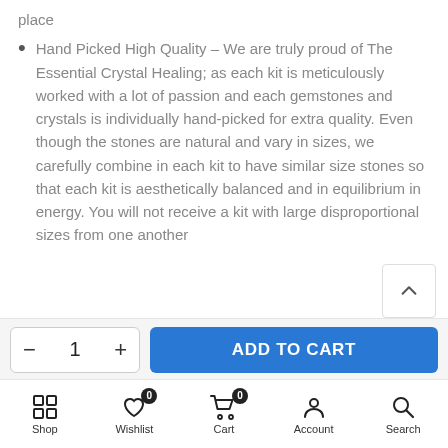place
Hand Picked High Quality – We are truly proud of The Essential Crystal Healing; as each kit is meticulously worked with a lot of passion and each gemstones and crystals is individually hand-picked for extra quality. Even though the stones are natural and vary in sizes, we carefully combine in each kit to have similar size stones so that each kit is aesthetically balanced and in equilibrium in energy. You will not receive a kit with large disproportional sizes from one another
[Figure (screenshot): Scroll up arrow button]
[Figure (screenshot): Add to cart bar with quantity control showing minus, 1, plus and blue ADD TO CART button]
[Figure (screenshot): Bottom navigation bar with Shop, Wishlist (0), Cart (0), Account, Search icons]